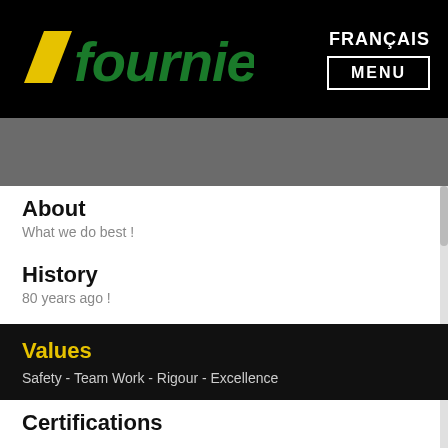[Figure (logo): Fournier company logo — yellow parallelogram shape on left, green stylized text 'fournier' on black background]
FRANÇAIS
MENU
About
What we do best !
History
80 years ago !
Values
Safety - Team Work - Rigour - Excellence
Certifications